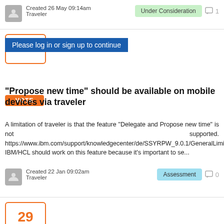Created 26 May 09:14am
Traveler
Under Consideration  💬 1
Please log in or sign up to continue
VOTE
"Propose new time" should be available on mobile devices via traveler
A limitation of traveler is that the feature "Delegate and Propose new time" is not supported. https://www.ibm.com/support/knowledgecenter/de/SSYRPW_9.0.1/GeneralLimitations.html IBM/HCL should work on this feature because it's important to se...
Created 22 Jan 09:02am
Traveler
Assessment  💬 0
29
VOTE